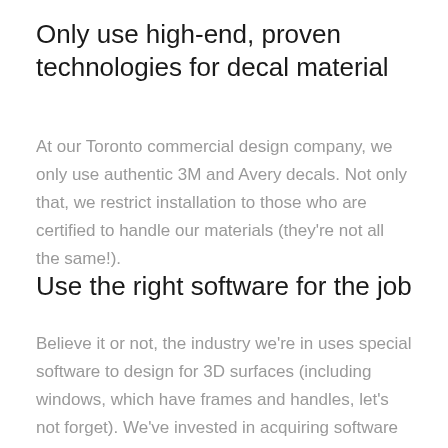Only use high-end, proven technologies for decal material
At our Toronto commercial design company, we only use authentic 3M and Avery decals. Not only that, we restrict installation to those who are certified to handle our materials (they're not all the same!).
Use the right software for the job
Believe it or not, the industry we're in uses special software to design for 3D surfaces (including windows, which have frames and handles, let's not forget). We've invested in acquiring software that lets us do our job with…